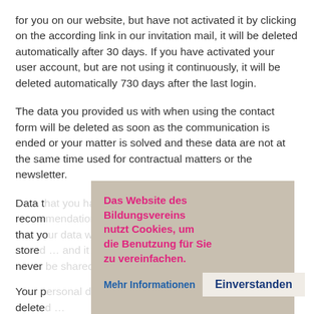for you on our website, but have not activated it by clicking on the according link in our invitation mail, it will be deleted automatically after 30 days. If you have activated your user account, but are not using it continuously, it will be deleted automatically 730 days after the last login.
The data you provided us with when using the contact form will be deleted as soon as the communication is ended or your matter is solved and these data are not at the same time used for contractual matters or the newsletter.
Data that you have entered for the use of the recom[mendation function is subject to the fact] that yo[ur data will o]nly be stored[ … and] will never[ …]
Your p[ersonal data will b]e delete[d …]
[Figure (other): Cookie consent overlay in German: 'Das Website des Bildungsvereins nutzt Cookies, um die Benutzung für Sie zu vereinfachen.' with links 'Mehr Informationen' and button 'Einverstanden']